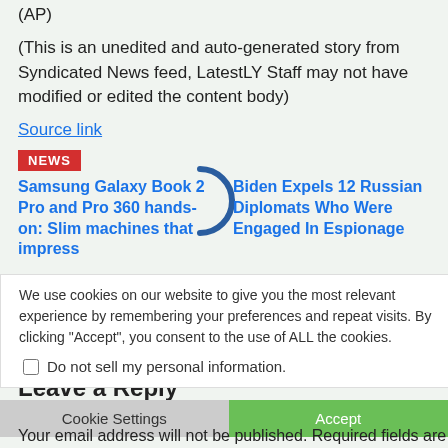(AP)
(This is an unedited and auto-generated story from Syndicated News feed, LatestLY Staff may not have modified or edited the content body)
Source link
NEWS
Samsung Galaxy Book 2 Pro and Pro 360 hands-on: Slim machines that impress
[Figure (other): Loading spinner arc]
Biden Expels 12 Russian Diplomats Who Were Engaged In Espionage
We use cookies on our website to give you the most relevant experience by remembering your preferences and repeat visits. By clicking "Accept", you consent to the use of ALL the cookies.
Do not sell my personal information.
Leave a Reply
Cookie Settings
Accept
Your email address will not be published. Required fields are marked *